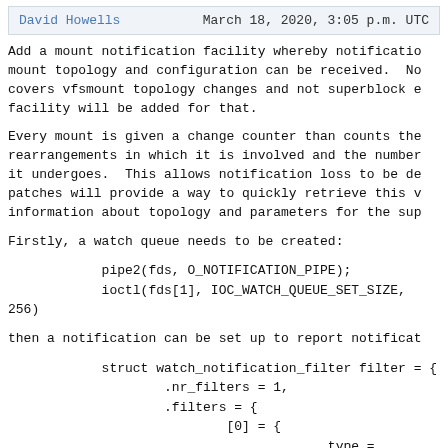David Howells    March 18, 2020, 3:05 p.m. UTC
Add a mount notification facility whereby notifications about mount topology and configuration can be received. Note that this covers vfsmount topology changes and not superblock events; a separate facility will be added for that.
Every mount is given a change counter than counts the number of rearrangements in which it is involved and the number of attribute changes it undergoes. This allows notification loss to be detected. Later patches will provide a way to quickly retrieve this value and to get information about topology and parameters for the superblock.
Firstly, a watch queue needs to be created:
then a notification can be set up to report notifications: